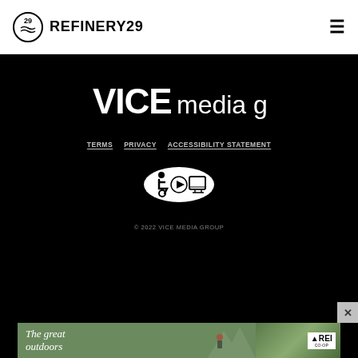REFINERY29
[Figure (logo): VICE media group logo in white on black background]
TERMS   PRIVACY   ACCESSIBILITY STATEMENT
[Figure (logo): Accessibility icon badge with wheelchair, play button, and monitor icons in white oval on black]
© 2022 VICE MEDIA GROUP
[Figure (photo): REI advertisement banner showing outdoor scene with text 'The great outdoors' and REI co-op logo]